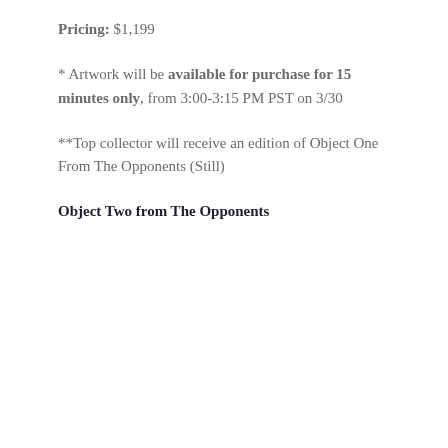Pricing: $1,199
* Artwork will be available for purchase for 15 minutes only, from 3:00-3:15 PM PST on 3/30
**Top collector will receive an edition of Object One From The Opponents (Still)
Object Two from The Opponents